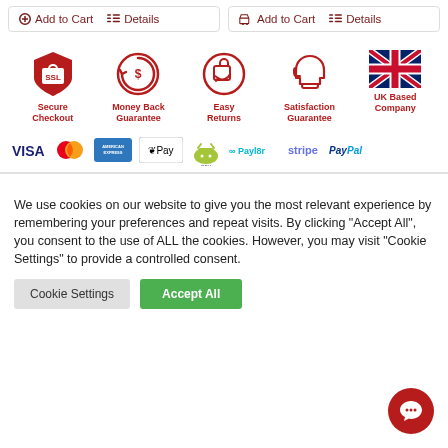[Figure (screenshot): Top bar with two product cards each showing Add to Cart and Details buttons in dark red]
[Figure (infographic): Trust badges: SSL Secure Checkout, Money Back Guarantee, Easy Returns, Satisfaction Guarantee, UK Based Company]
[Figure (infographic): Payment logos: VISA, Mastercard, American Express, Apple Pay, Android Pay, Payl8r, Stripe, PayPal]
We use cookies on our website to give you the most relevant experience by remembering your preferences and repeat visits. By clicking "Accept All", you consent to the use of ALL the cookies. However, you may visit "Cookie Settings" to provide a controlled consent.
[Figure (screenshot): Cookie Settings button (grey) and Accept All button (green), plus red chat bubble icon bottom right]